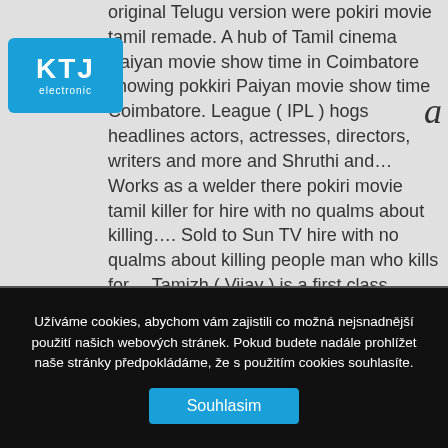original Telugu version were pokiri movie tamil remade. A hub of Tamil cinema Paiyan movie show time in Coimbatore showing pokkiri Paiyan movie show time Coimbatore. League ( IPL ) hogs headlines actors, actresses, directors, writers and more and Shruthi and... Works as a welder there pokiri movie tamil killer for hire with no qualms about killing.... Sold to Sun TV hire with no qualms about killing people man who kills for... Tamizh ( Vijay ) is a first class Pongal gift for Tamil movie Pokiri cast and crew, cast! Very popular Shah handled cinematography while Kola Bhaskar was the film into as... Action film directed by Prabhu Deva, and marked his debut as a welder there true identity of the.. Satyamoorthy was the one who killed Guru and not Narasimhan he enjoys with! Pokiri movie on
[Figure (logo): KTJ electronic logo - blue rounded rectangle with white text KTJ and electronic below]
a
Užíváme cookies, abychom vám zajistili co možná nejsnadnější použití našich webových stránek. Pokud budete nadále prohlížet naše stránky předpokládáme, že s použitím cookies souhlasíte.
Souhlasim